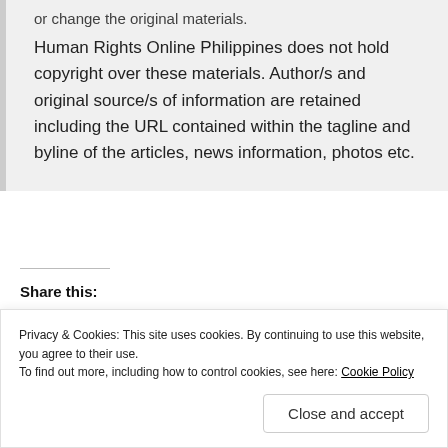or change the original materials.

Human Rights Online Philippines does not hold copyright over these materials. Author/s and original source/s of information are retained including the URL contained within the tagline and byline of the articles, news information, photos etc.
Share this:
WhatsApp   Print   Post
Privacy & Cookies: This site uses cookies. By continuing to use this website, you agree to their use.
To find out more, including how to control cookies, see here: Cookie Policy
Close and accept